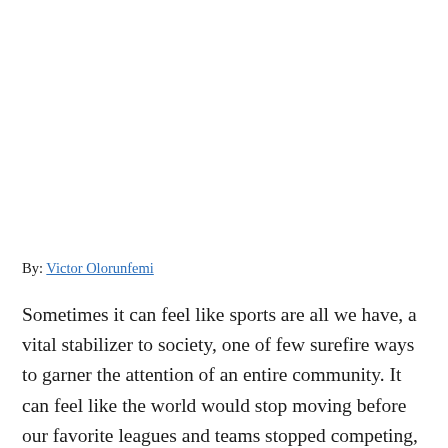By: Victor Olorunfemi
Sometimes it can feel like sports are all we have, a vital stabilizer to society, one of few surefire ways to garner the attention of an entire community. It can feel like the world would stop moving before our favorite leagues and teams stopped competing, after all, sports are a trillion-dollar industry that do not seem to slow down for anyone or